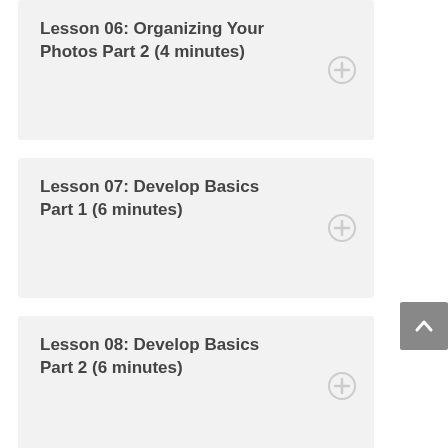Lesson 06: Organizing Your Photos Part 2 (4 minutes)
Lesson 07: Develop Basics Part 1 (6 minutes)
Lesson 08: Develop Basics Part 2 (6 minutes)
Lesson 09: The Brush and Graduated Filters (7 minutes)